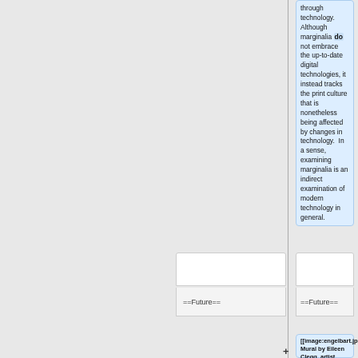through technology. Although marginalia do not embrace the up-to-date digital technologies, it instead tracks the print culture that is nonetheless being affected by changes in technology.  In a sense, examining marginalia is an indirect examination of modern technology in general.
==Future==
==Future==
[[image:engelbart.jpg|thumb|right|300px|Engelbart Mural by Eileen Clegg, artist